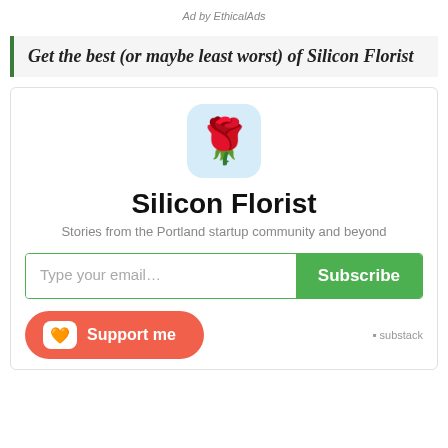Ad by EthicalAds
Get the best (or maybe least worst) of Silicon Florist
[Figure (logo): Silicon Florist app icon: a rose emoji on a light blue rounded square background]
Silicon Florist
Stories from the Portland startup community and beyond
Type your email... Subscribe
Support me
substack